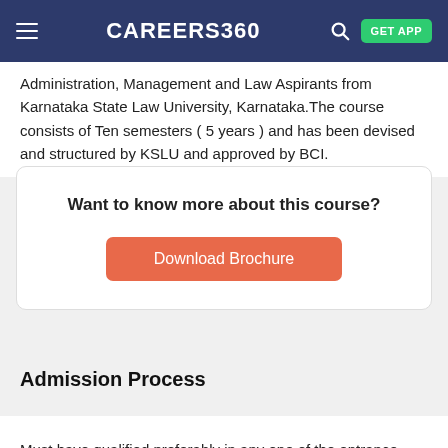CAREERS360 | GET APP
Administration, Management and Law Aspirants from Karnataka State Law University, Karnataka.The course consists of Ten semesters ( 5 years ) and has been devised and structured by KSLU and approved by BCI.
Want to know more about this course?
Download Brochure
Admission Process
Must have qualified preferably in any one of the entrance examinations,

Viz., CLAT, LSAT, OR ILAT .